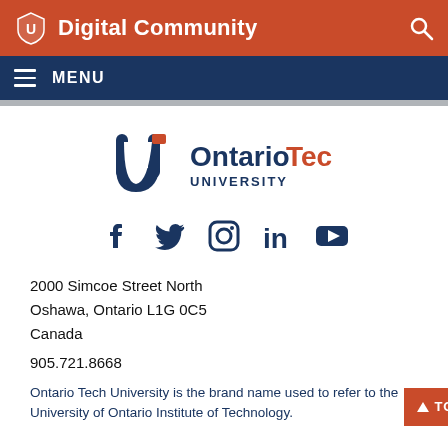Digital Community
MENU
[Figure (logo): Ontario Tech University logo with shield icon, 'Ontario' in blue, 'Tech' in orange, 'UNIVERSITY' in blue below]
[Figure (infographic): Social media icons: Facebook, Twitter, Instagram, LinkedIn, YouTube — all in navy blue]
2000 Simcoe Street North
Oshawa, Ontario L1G 0C5
Canada
905.721.8668
Ontario Tech University is the brand name used to refer to the University of Ontario Institute of Technology.